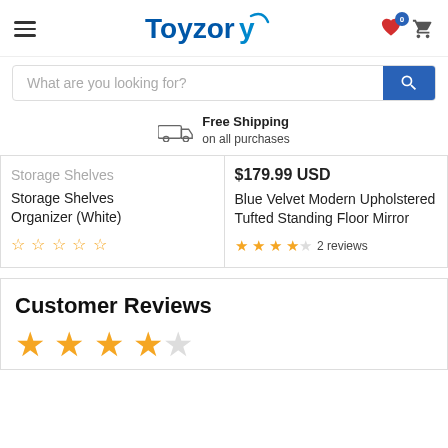Toyzory — navigation header with hamburger menu, logo, wishlist and cart icons
What are you looking for?
Free Shipping on all purchases
Storage Shelves Organizer (White)
$179.99 USD
Blue Velvet Modern Upholstered Tufted Standing Floor Mirror
★★★★☆ 2 reviews
Customer Reviews
★★★★☆